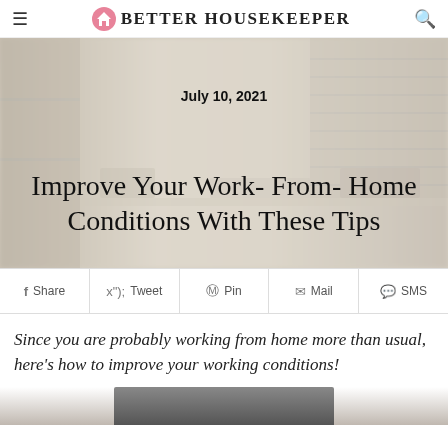BETTER HOUSEKEEPER
[Figure (photo): Blurred home office background with shelving, desk, blinds on window, used as hero image background]
July 10, 2021
Improve Your Work- From- Home Conditions With These Tips
Share  Tweet  Pin  Mail  SMS
Since you are probably working from home more than usual, here's how to improve your working conditions!
[Figure (photo): Partial bottom image visible, appears to be a person or office scene]